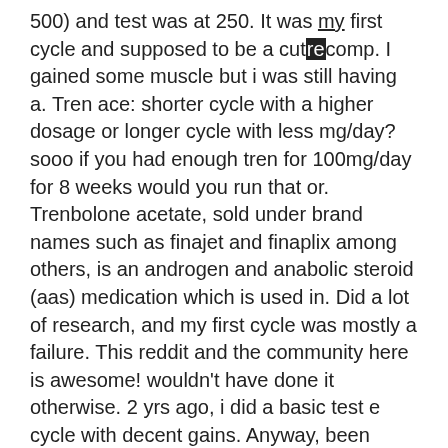500) and test was at 250. It was my first cycle and supposed to be a cut/recomp. I gained some muscle but i was still having a. Tren ace: shorter cycle with a higher dosage or longer cycle with less mg/day? sooo if you had enough tren for 100mg/day for 8 weeks would you run that or. Trenbolone acetate, sold under brand names such as finajet and finaplix among others, is an androgen and anabolic steroid (aas) medication which is used in. Did a lot of research, and my first cycle was mostly a failure. This reddit and the community here is awesome! wouldn't have done it otherwise. 2 yrs ago, i did a basic test e cycle with decent gains. Anyway, been planning a test and tren ace cycle @ 250-300mg of tren ace per. Tren ace at 140mg alongside 160mg test was fucking absolute torture. Insomnia at week 2. You can get as many needles and barrels as you need for your cycle free from your local